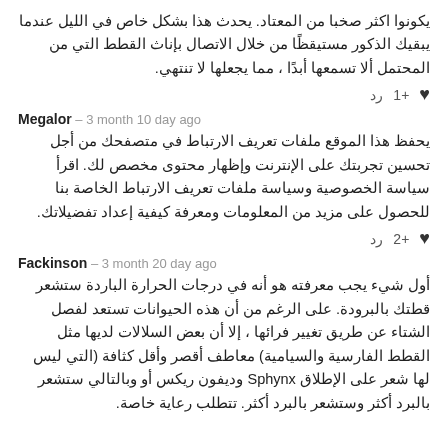يكونوا اكثر صخبا من المعتاد. يحدث هذا بشكل خاص في الليل عندما يبقيك الذكور مستيقظًا من خلال الاتصال بإناث القطط التي من المحتمل ألا تسمعها أبدًا ، مما يجعلها لا تنتهي.
رد  +1 ♥
Megalor – 3 month 10 day ago
يحفظ هذا الموقع ملفات تعريف الارتباط في متصفحك من أجل تحسين تجربتك على الإنترنت وإظهار محتوى مخصص لك. اقرأ سياسة الخصوصية وسياسة ملفات تعريف الارتباط الخاصة بنا للحصول على مزيد من المعلومات ومعرفة كيفية إعداد تفضيلاتك.
رد  +2 ♥
Fackinson – 3 month 20 day ago
أول شيء يجب معرفته هو أنه في درجات الحرارة الباردة ستشعر قطتك بالبرودة. على الرغم من أن هذه الحيوانات تستعد لفصل الشتاء عن طريق تغيير فرائها ، إلا أن بعض السلالات لديها مثل القطط الفارسية والسيامية) معاطف أقصر وأقل كثافة (التي ليس لها شعر على الإطلاق Sphynx وديفون ريكس أو وبالتالي ستشعر بالبرد أكثر وستشعر بالبرد أكثر. تتطلب رعاية خاصة.